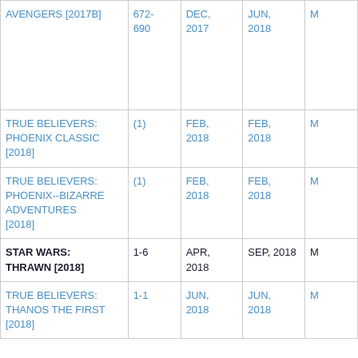| Title | Issues | Start Date | End Date |  |
| --- | --- | --- | --- | --- |
| AVENGERS [2017B] | 672-690 | DEC, 2017 | JUN, 2018 | M |
| TRUE BELIEVERS: PHOENIX CLASSIC [2018] | (1) | FEB, 2018 | FEB, 2018 | M |
| TRUE BELIEVERS: PHOENIX--BIZARRE ADVENTURES [2018] | (1) | FEB, 2018 | FEB, 2018 | M |
| STAR WARS: THRAWN [2018] | 1-6 | APR, 2018 | SEP, 2018 | M |
| TRUE BELIEVERS: THANOS THE FIRST [2018] | 1-1 | JUN, 2018 | JUN, 2018 | M |